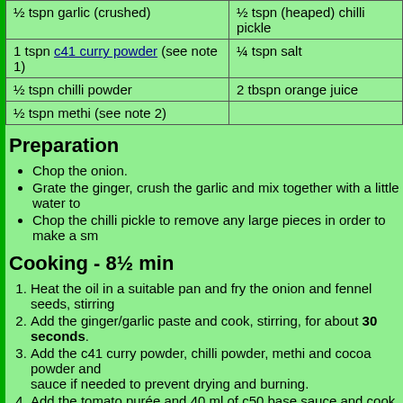| ½ tspn garlic (crushed) | ½ tspn (heaped) chilli pickle |
| 1 tspn c41 curry powder (see note 1) | ¼ tspn salt |
| ½ tspn chilli powder | 2 tbspn orange juice |
| ½ tspn methi (see note 2) |  |
Preparation
Chop the onion.
Grate the ginger, crush the garlic and mix together with a little water to
Chop the chilli pickle to remove any large pieces in order to make a sm
Cooking - 8½ min
Heat the oil in a suitable pan and fry the onion and fennel seeds, stirring
Add the ginger/garlic paste and cook, stirring, for about 30 seconds.
Add the c41 curry powder, chilli powder, methi and cocoa powder and sauce if needed to prevent drying and burning.
Add the tomato purée and 40 ml of c50 base sauce and cook, stirring, for needed to prevent drying.
Add the c41 pre-cooked chicken, chilli pickle, salt and 80 ml of c50 base adding c50 base sauce as needed to maintain the desired sauce consistency.
Reduce the heat and add 2 tbspn of orange juice and cook, stirring regularly, maintain the desired sauce consistency.
Serving